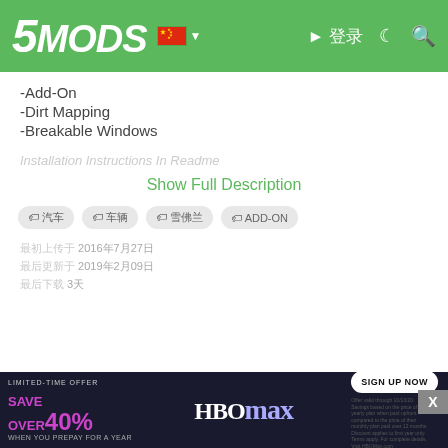5MODS navigation bar with logo, Chinese flag, login and search icons
-Add-On
-Dirt Mapping
-Breakable Windows
Installation Instructions In Readme
Show Full Description
Tags: 汽车, 车辆, 雪佛兰, ADD-ON
最初上传于 2016年7月27日
最后更新于 2019年2月09日
最后下载 3天
All Versions
1.5 (current)
1,489 次下载
2019年